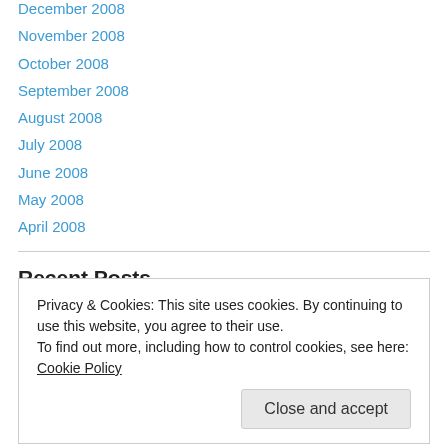December 2008
November 2008
October 2008
September 2008
August 2008
July 2008
June 2008
May 2008
April 2008
Recent Posts
On The Edge, 2 Personal Journal Entries
Privacy & Cookies: This site uses cookies. By continuing to use this website, you agree to their use.
To find out more, including how to control cookies, see here: Cookie Policy